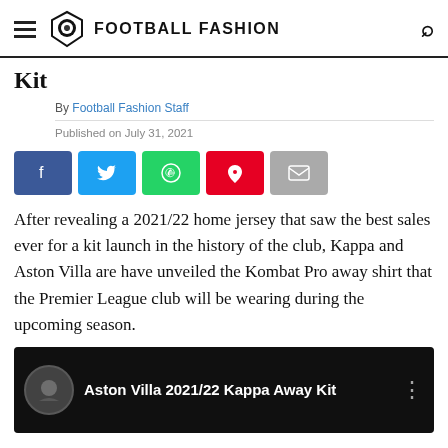Football Fashion
Kit
By Football Fashion Staff
Published on July 31, 2021
[Figure (infographic): Social sharing buttons: Facebook (blue), Twitter (cyan), WhatsApp (green), Pinterest (red), Email (grey)]
After revealing a 2021/22 home jersey that saw the best sales ever for a kit launch in the history of the club, Kappa and Aston Villa are have unveiled the Kombat Pro away shirt that the Premier League club will be wearing during the upcoming season.
[Figure (screenshot): Video thumbnail: Aston Villa 2021/22 Kappa Away Kit — dark background with people celebrating, channel icon circle on left]